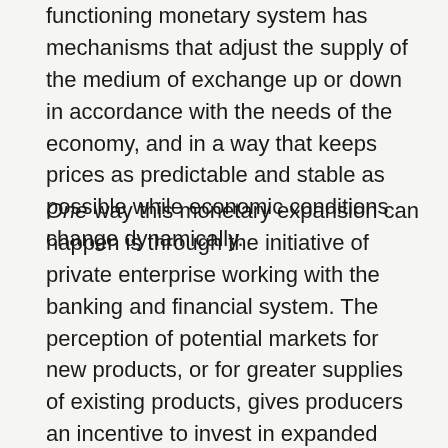functioning monetary system has mechanisms that adjust the supply of the medium of exchange up or down in accordance with the needs of the economy, and in a way that keeps prices as predictable and stable as possible while economic conditions change dynamically.
One way this monetary expansion can happen is through the initiative of private enterprise working with the banking and financial system. The perception of potential markets for new products, or for greater supplies of existing products, gives producers an incentive to invest in expanded production.  If existing monetary savings are inadequate to finance the entirety of the new production, or if risk-averse producers are unwilling in the aggregate to reduce their financial savings even though those savings are adequate to the task, there will be demand for a sharply increased net supply of credit to finance the